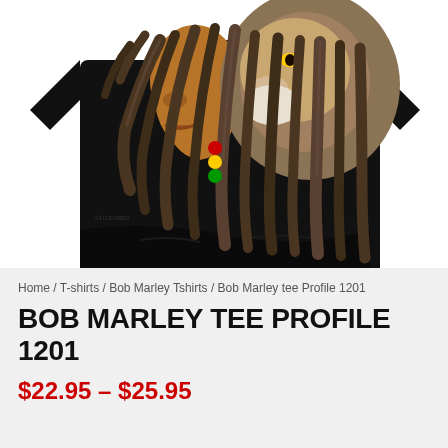[Figure (photo): A black t-shirt with an artistic graphic print showing a side profile of Bob Marley with dreadlocks merged with a lion's head and mane. The figure has Rasta-colored beads (red, yellow, green) in the dreadlocks. The image is cropped showing the upper portion of the shirt against a white background.]
Home / T-shirts / Bob Marley Tshirts / Bob Marley tee Profile 1201
BOB MARLEY TEE PROFILE 1201
$22.95 – $25.95